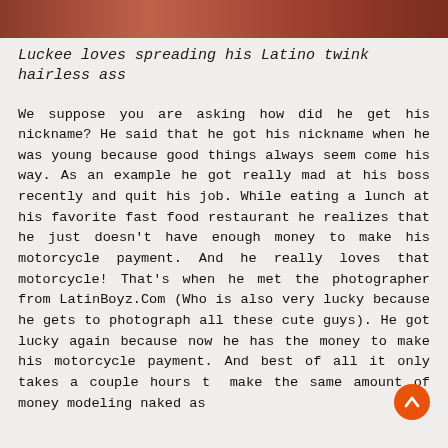[Figure (photo): Cropped photo strip at top of page showing a person, partially visible]
Luckee loves spreading his Latino twink hairless ass
We suppose you are asking how did he get his nickname? He said that he got his nickname when he was young because good things always seem come his way. As an example he got really mad at his boss recently and quit his job. While eating a lunch at his favorite fast food restaurant he realizes that he just doesn't have enough money to make his motorcycle payment. And he really loves that motorcycle! That's when he met the photographer from LatinBoyz.Com (Who is also very lucky because he gets to photograph all these cute guys). He got lucky again because now he has the money to make his motorcycle payment. And best of all it only takes a couple hours to make the same amount of money modeling naked as